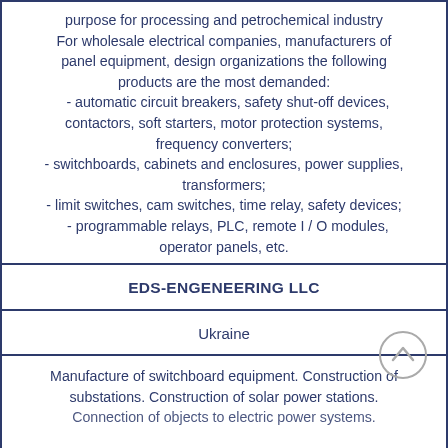purpose for processing and petrochemical industry For wholesale electrical companies, manufacturers of panel equipment, design organizations the following products are the most demanded:
 - automatic circuit breakers, safety shut-off devices, contactors, soft starters, motor protection systems, frequency converters;
- switchboards, cabinets and enclosures, power supplies, transformers;
- limit switches, cam switches, time relay, safety devices;
 - programmable relays, PLC, remote I / O modules, operator panels, etc.
EDS-ENGENEERING LLC
Ukraine
Manufacture of switchboard equipment. Construction of substations. Construction of solar power stations. Connection of objects to electric power systems.